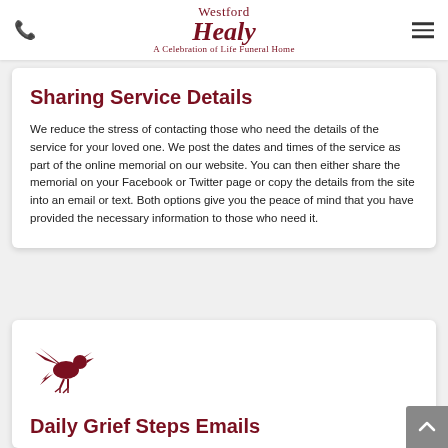Westford Healy — A Celebration of Life Funeral Home
Sharing Service Details
We reduce the stress of contacting those who need the details of the service for your loved one. We post the dates and times of the service as part of the online memorial on our website. You can then either share the memorial on your Facebook or Twitter page or copy the details from the site into an email or text. Both options give you the peace of mind that you have provided the necessary information to those who need it.
[Figure (illustration): Red/dark red dove or bird icon flying with wings spread]
Daily Grief Steps Emails